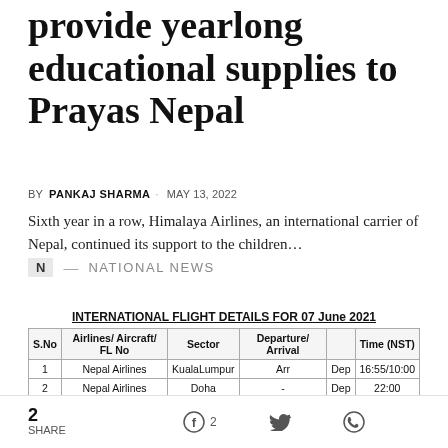provide yearlong educational supplies to Prayas Nepal
BY PANKAJ SHARMA · MAY 13, 2022
Sixth year in a row, Himalaya Airlines, an international carrier of Nepal, continued its support to the children...
N — NATIONAL NEWS
INTERNATIONAL FLIGHT DETAILS FOR 07 June 2021
| S.No | Airlines/ Aircraft/ FL No | Sector | Departure/ Arrival |  | Time (NST) |
| --- | --- | --- | --- | --- | --- |
| 1 | Nepal Airlines | KualaLumpur | Arr | Dep | 16:55/10:00 |
| 2 | Nepal Airlines | Doha | - | Dep | 22:00 |
| 3 | Himalaya Airlines | Kunming | Arr | - | 06:40 |
2 SHARE  [Facebook] 2  [Twitter]  [WhatsApp]